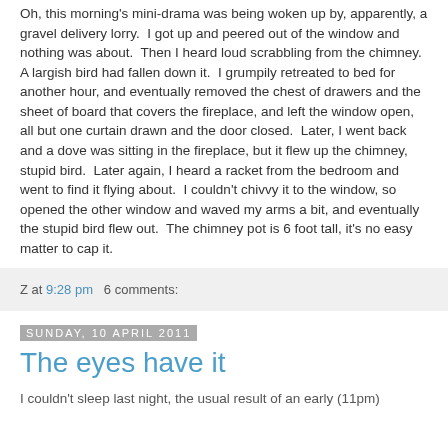Oh, this morning's mini-drama was being woken up by, apparently, a gravel delivery lorry.  I got up and peered out of the window and nothing was about.  Then I heard loud scrabbling from the chimney.  A largish bird had fallen down it.  I grumpily retreated to bed for another hour, and eventually removed the chest of drawers and the sheet of board that covers the fireplace, and left the window open, all but one curtain drawn and the door closed.  Later, I went back and a dove was sitting in the fireplace, but it flew up the chimney, stupid bird.  Later again, I heard a racket from the bedroom and went to find it flying about.  I couldn't chivvy it to the window, so opened the other window and waved my arms a bit, and eventually the stupid bird flew out.  The chimney pot is 6 foot tall, it's no easy matter to cap it.
Z at 9:28 pm   6 comments:
Sunday, 10 April 2011
The eyes have it
I couldn't sleep last night, the usual result of an early (11pm)